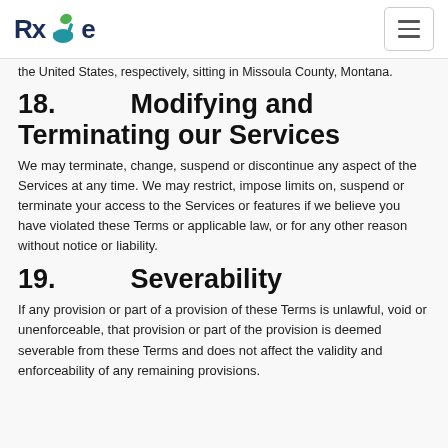RxGe [logo]
the United States, respectively, sitting in Missoula County, Montana.
18.   Modifying and Terminating our Services
We may terminate, change, suspend or discontinue any aspect of the Services at any time. We may restrict, impose limits on, suspend or terminate your access to the Services or features if we believe you have violated these Terms or applicable law, or for any other reason without notice or liability.
19.   Severability
If any provision or part of a provision of these Terms is unlawful, void or unenforceable, that provision or part of the provision is deemed severable from these Terms and does not affect the validity and enforceability of any remaining provisions.